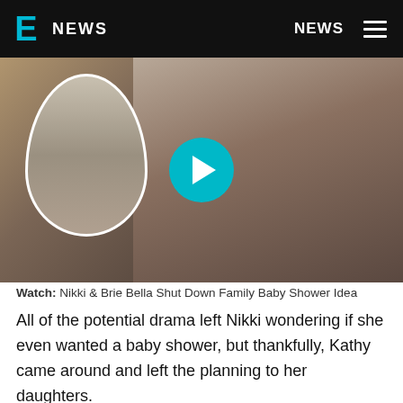E NEWS | NEWS
[Figure (screenshot): Video thumbnail showing Nikki and Brie Bella looking at something together, with a circular inset showing another person, and a teal play button overlay. E! News video player.]
Watch: Nikki & Brie Bella Shut Down Family Baby Shower Idea
All of the potential drama left Nikki wondering if she even wanted a baby shower, but thankfully, Kathy came around and left the planning to her daughters.
"Brie and I can take over the guest list. It's just, that's all I wanted," Nikki expressed. "I'm not here to